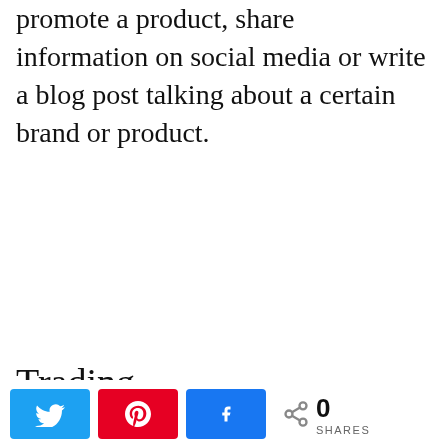promote a product, share information on social media or write a blog post talking about a certain brand or product.
Trading
Many people seem to be a little afraid of investing, and it's not a surprise. If you think about the stock market, the chances are that you picture volatility and a